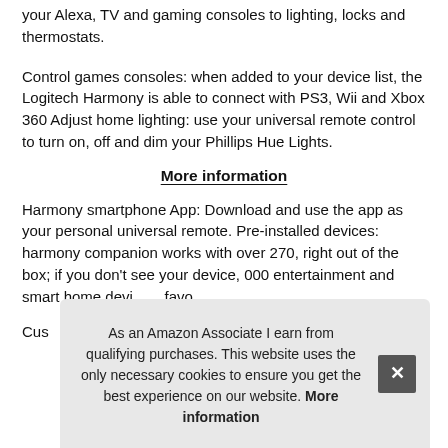your Alexa, TV and gaming consoles to lighting, locks and thermostats.
Control games consoles: when added to your device list, the Logitech Harmony is able to connect with PS3, Wii and Xbox 360 Adjust home lighting: use your universal remote control to turn on, off and dim your Phillips Hue Lights.
More information
Harmony smartphone App: Download and use the app as your personal universal remote. Pre-installed devices: harmony companion works with over 270, right out of the box; if you don't see your device, 000 entertainment and smart home devices. favo
Custo devi
As an Amazon Associate I earn from qualifying purchases. This website uses the only necessary cookies to ensure you get the best experience on our website. More information